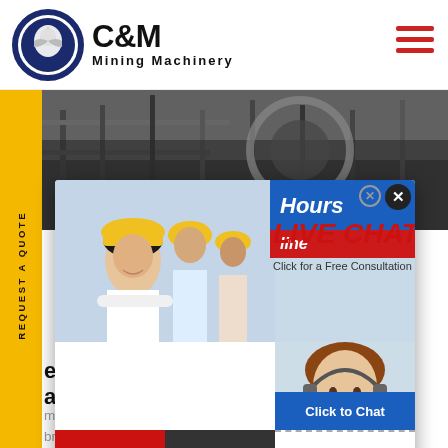[Figure (logo): C&M Mining Machinery logo with eagle in gear circle and company name text]
[Figure (photo): Industrial mining machinery in background hero banner]
[Figure (screenshot): Live chat popup overlay with worker photo, LIVE CHAT heading, subtitle 'Click for a Free Consultation', Chat now and Chat later buttons, and close buttons]
ement Brick Making Mc
anufacturers, Suppliers
ment bricks Making Machine 43
bricks making machine an egg layi
operated Concrete Block Making M
wheels. Which will lay block on the